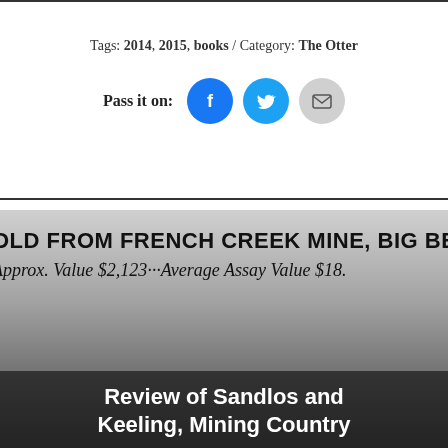Tags: 2014, 2015, books / Category: The Otter
Pass it on: [Facebook icon] [Twitter icon] [Email icon]
[Figure (photo): Historical photograph showing text overlaid on a mining scene. Text reads: 'GOLD FROM FRENCH CREEK MINE, BIG BEND DISTRICT, RE...' and 'Approx. Value $2,123 ··· Average Assay Value $18...' with rocky terrain in lower portion.]
Review of Sandlos and Keeling, Mining Country